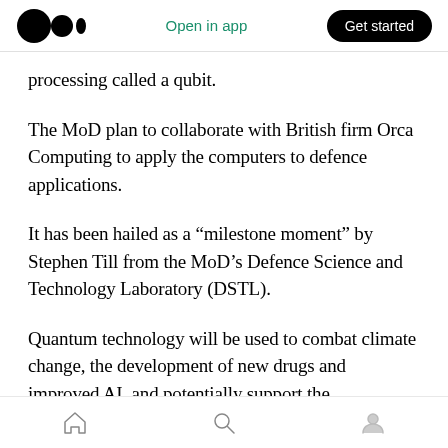Medium logo | Open in app | Get started
processing called a qubit.
The MoD plan to collaborate with British firm Orca Computing to apply the computers to defence applications.
It has been hailed as a “milestone moment” by Stephen Till from the MoD’s Defence Science and Technology Laboratory (DSTL).
Quantum technology will be used to combat climate change, the development of new drugs and improved AI, and potentially support the
Home | Search | Profile